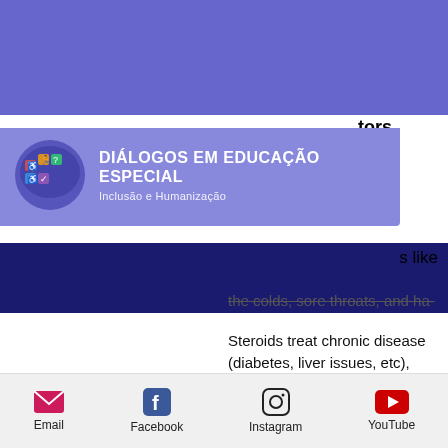[Figure (screenshot): Website header with purple navigation bar showing hamburger menu and partial right-side text (tion, logical, ood, nan, tors)]
[Figure (logo): Diálogos em Educação Especial logo - circular blue speech bubble with accessibility icons, white text header 'DIÁLOGOS EM EDUCAÇÃO ESPECIAL' and subtitle 'Inclusão e Humanização' on purple/violet background]
s like
the colds, sore throats, and ha-
Steroids treat chronic disease (diabetes, liver issues, etc), why are antibiotics combined with corticosteroids. Antibiotics can improve symptoms, but it does not treat the disease. Steroids allow you to be free of the disease and get your natural health back, steroids and antibiotics for sinus infection.
Email  Facebook  Instagram  YouTube